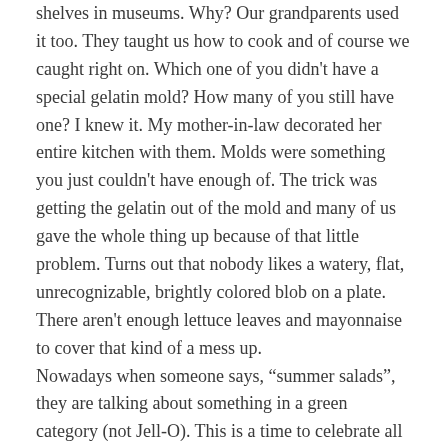shelves in museums. Why? Our grandparents used it too. They taught us how to cook and of course we caught right on. Which one of you didn't have a special gelatin mold? How many of you still have one? I knew it. My mother-in-law decorated her entire kitchen with them. Molds were something you just couldn't have enough of. The trick was getting the gelatin out of the mold and many of us gave the whole thing up because of that little problem. Turns out that nobody likes a watery, flat, unrecognizable, brightly colored blob on a plate. There aren't enough lettuce leaves and mayonnaise to cover that kind of a mess up.
Nowadays when someone says, “summer salads”, they are talking about something in a green category (not Jell-O). This is a time to celebrate all that comes from the garden instead of the deli. The healthy food craze that many of us predicted would go away, just didn't. We are bombarded by ways to use spices, herbs, vegetables and an assortment of soy products in order to be healthier. Recipes and chefs advise us to improve everything from libido to memory by simply eating a diet free of all the